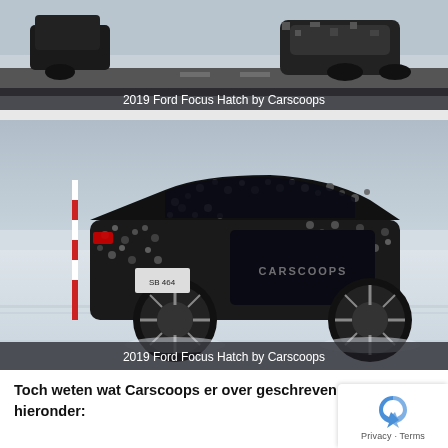[Figure (photo): Top cropped photo of a camouflage-wrapped 2019 Ford Focus Hatch driving on a snowy/icy road, seen from the rear, with a dark road surface.]
2019 Ford Focus Hatch by Carscoops
[Figure (photo): Photo of a camouflage-wrapped 2019 Ford Focus Hatch driving on a snowy ice surface, rear three-quarter view, with a red/white pole visible on the left and CARSCOOPS watermark on the car door. License plate partially visible.]
2019 Ford Focus Hatch by Carscoops
Toch weten wat Carscoops er over geschreven heeft? Dat k hieronder: